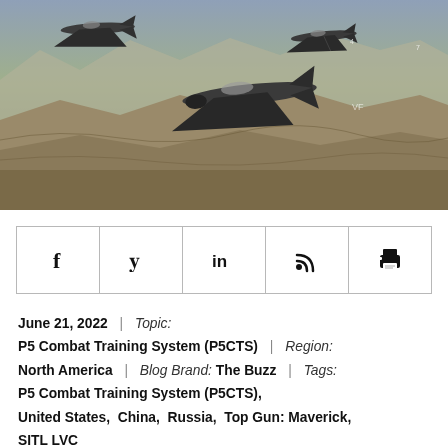[Figure (photo): Aerial photo of three F-35 stealth fighter jets flying in formation over a desert mountain landscape.]
[Figure (infographic): Social sharing bar with icons for Facebook, Twitter, LinkedIn, RSS feed, and Print.]
June 21, 2022 | Topic: P5 Combat Training System (P5CTS) | Region: North America | Blog Brand: The Buzz | Tags: P5 Combat Training System (P5CTS), United States, China, Russia, Top Gun: Maverick, SITL LVC